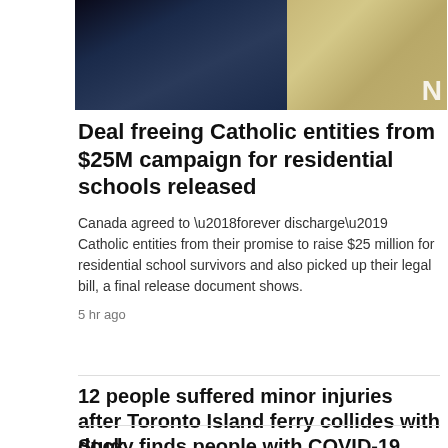[Figure (photo): Partial photo of a person in a dark suit and tie, with a golden/yellow background showing partial text 'ON']
Deal freeing Catholic entities from $25M campaign for residential schools released
Canada agreed to ‘forever discharge’ Catholic entities from their promise to raise $25 million for residential school survivors and also picked up their legal bill, a final release document shows.
5 hr ago
12 people suffered minor injuries after Toronto Island ferry collides with dock
2 hr ago
Study finds people with COVID-19 remain infectious five days after first symptoms